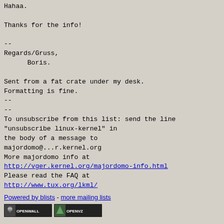Hahaa.

Thanks for the info!

--
Regards/Gruss,
      Boris.

Sent from a fat crate under my desk.
Formatting is fine.
--
--
To unsubscribe from this list: send the line
"unsubscribe linux-kernel" in
the body of a message to
majordomo@...r.kernel.org
More majordomo info at
http://vger.kernel.org/majordomo-info.html
Please read the FAQ at
http://www.tux.org/lkml/
Powered by blists - more mailing lists
[Figure (logo): Openwall and OpenVZ badges/logos]